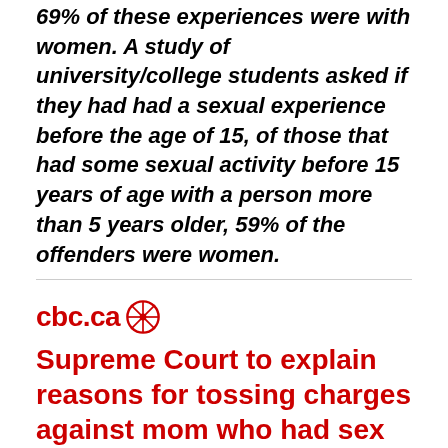69% of these experiences were with women. A study of university/college students asked if they had had a sexual experience before the age of 15, of those that had some sexual activity before 15 years of age with a person more than 5 years older, 59% of the offenders were women.
[Figure (logo): CBC.ca logo with gem icon in red]
Supreme Court to explain reasons for tossing charges against mom who had sex with minor
CanadianCRC Editor: This article contains sexist wording that would never have been used had the rapist been a man and it was sex with the 1[...] old female. We have highlighted the sexist[...] in red. REVERSE the genders on this story and see